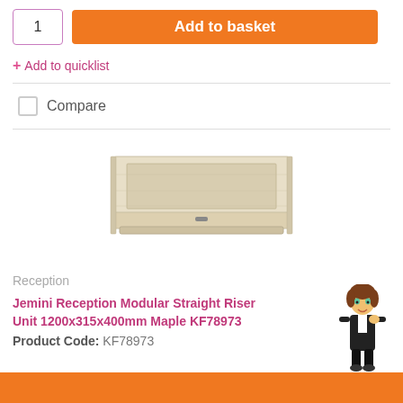1
Add to basket
+ Add to quicklist
Compare
[Figure (photo): Product image of Jemini Reception Modular Straight Riser Unit - a light maple wood rectangular shelf/riser unit]
Reception
Jemini Reception Modular Straight Riser Unit 1200x315x400mm Maple KF78973
Product Code: KF78973